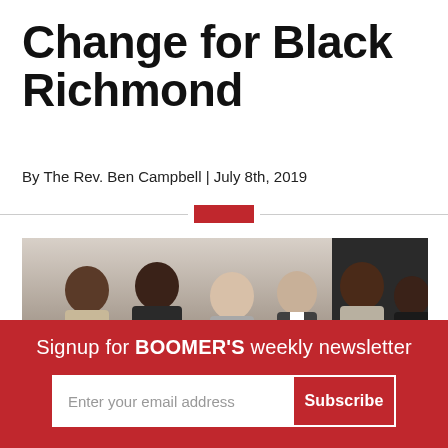Change for Black Richmond
By The Rev. Ben Campbell | July 8th, 2019
[Figure (photo): Group photo of six people standing together, smiling, in an indoor setting. Three men and three women of mixed race.]
Signup for BOOMER'S weekly newsletter
Enter your email address
Subscribe